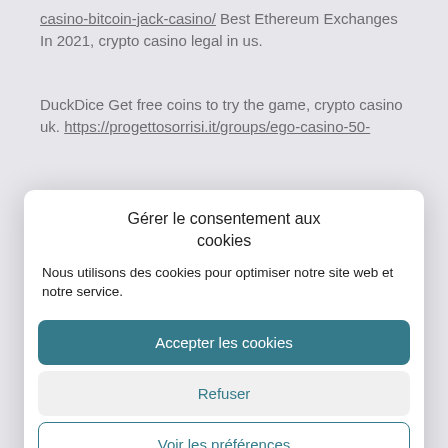casino-bitcoin-jack-casino/ Best Ethereum Exchanges In 2021, crypto casino legal in us.
DuckDice Get free coins to try the game, crypto casino uk. https://progettosorrisi.it/groups/ego-casino-50-
Gérer le consentement aux cookies
Nous utilisons des cookies pour optimiser notre site web et notre service.
Accepter les cookies
Refuser
Voir les préférences